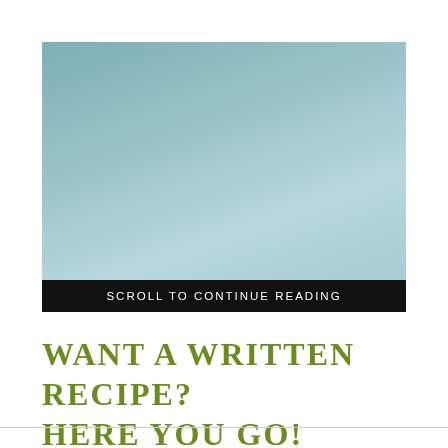[Figure (other): A teal/muted blue-green rectangular image placeholder with a black bar at the bottom containing the text 'SCROLL TO CONTINUE READING' in white uppercase letters.]
WANT A WRITTEN RECIPE? HERE YOU GO!